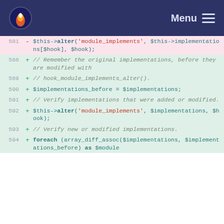Menu
581 - $this->alter('module_implements', $this->implementations[$hook], $hook);
588 + // Remember the original implementations, before they are modified with
589 + // hook_module_implements_alter().
590 + $implementations_before = $implementations;
591 + // Verify implementations that were added or modified.
592 + $this->alter('module_implements', $implementations, $hook);
593 + // Verify new or modified implementations.
594 + foreach (array_diff_assoc($implementations, $implementations_before) as $module